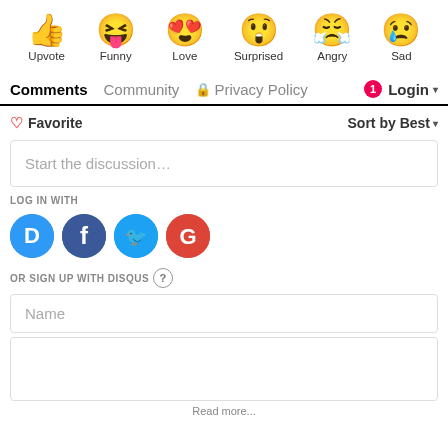[Figure (illustration): Six emoji reaction icons in a row: thumbs up (Upvote), laughing face with tongue (Funny), heart-eyes face (Love), surprised face (Surprised), angry face with steam (Angry), crying face (Sad)]
Upvote   Funny   Love   Surprised   Angry   Sad
Comments   Community   🔒 Privacy Policy   1 Login ▾
♡ Favorite   Sort by Best ▾
Start the discussion…
LOG IN WITH
[Figure (logo): Social login icons: Disqus (D), Facebook (f), Twitter bird, Google (G)]
OR SIGN UP WITH DISQUS ?
Name
Read more...